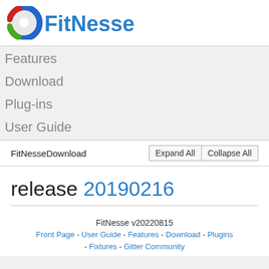[Figure (logo): FitNesse logo with circular icon and blue text]
Features
Download
Plug-ins
User Guide
FitNesseDownload
Expand All  Collapse All
release 20190216
FitNesse v20220815
Front Page - User Guide - Features - Download - Plugins - Fixtures - Gitter Community